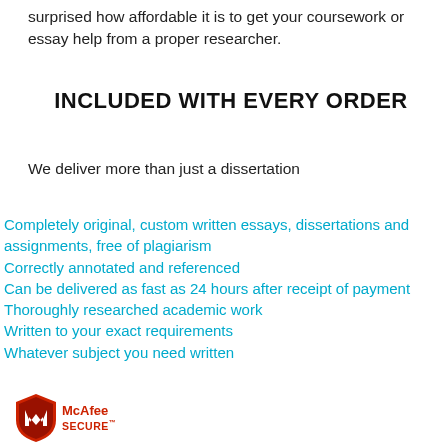surprised how affordable it is to get your coursework or essay help from a proper researcher.
INCLUDED WITH EVERY ORDER
We deliver more than just a dissertation
Completely original, custom written essays, dissertations and assignments, free of plagiarism
Correctly annotated and referenced
Can be delivered as fast as 24 hours after receipt of payment
Thoroughly researched academic work
Written to your exact requirements
Whatever subject you need written
[Figure (logo): McAfee SECURE logo with shield icon]